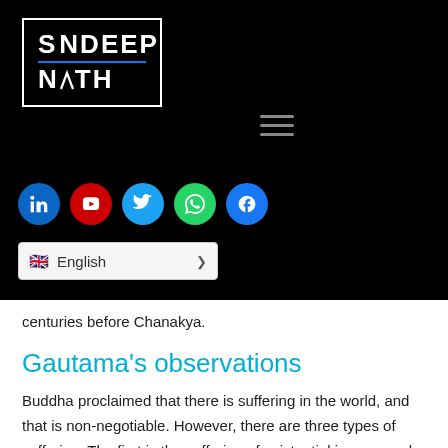[Figure (logo): Sandeep Nath logo in white text inside a white border box on black background, with a mountain/chevron graphic formed from the letter A in SANDEEP]
[Figure (other): Hamburger menu icon (three horizontal lines) on black background]
[Figure (other): Row of five social media icons: LinkedIn (blue), YouTube (red), Twitter (light blue), WhatsApp (green), Facebook (dark blue)]
[Figure (other): Language selector dropdown showing UK flag emoji and 'English' with a chevron]
centuries before Chanakya.
Gautama's observations
Buddha proclaimed that there is suffering in the world, and that is non-negotiable. However, there are three types of suffering. The first is the suffering of existential issues, such as pain, disease, death, and the stuff we encounter physically on a regular basis.